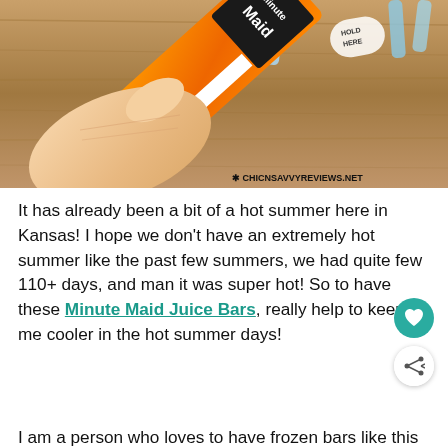[Figure (photo): A hand holding a Minute Maid Orange Juice Bar popsicle wrapper against a wooden background, with other colorful popsicle wrappers visible in the background. Watermark reads: CHICNSAVVYREVIEWS.NET]
It has already been a bit of a hot summer here in Kansas! I hope we don't have an extremely hot summer like the past few summers, we had quite few 110+ days, and man it was super hot! So to have these Minute Maid Juice Bars, really help to keep me cooler in the hot summer days!
I am a person who loves to have frozen bars like this